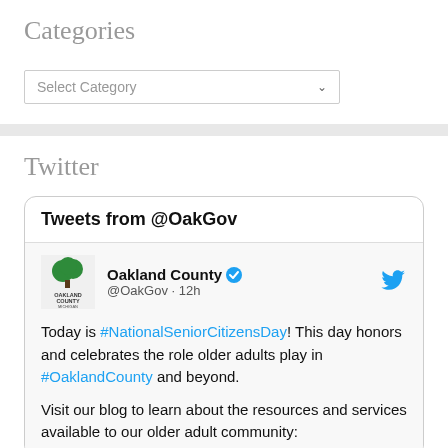Categories
[Figure (screenshot): Select Category dropdown box]
Twitter
[Figure (screenshot): Tweets from @OakGov widget showing Oakland County tweet about #NationalSeniorCitizensDay]
Today is #NationalSeniorCitizensDay! This day honors and celebrates the role older adults play in #OaklandCounty and beyond.
Visit our blog to learn about the resources and services available to our older adult community: